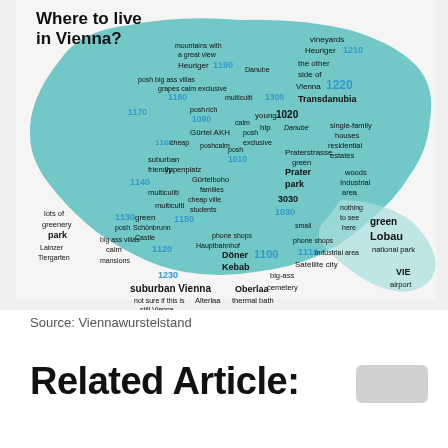[Figure (map): Illustrated map of Vienna districts labeled 'Where to live in Vienna?' showing various neighborhoods with district numbers (1010-1230) and descriptive keywords like vineyards, Heuriger, posh, multicultural, green, etc. Districts are shown in teal/mint color on a light background.]
Source: Viennawurstelstand
Related Article: